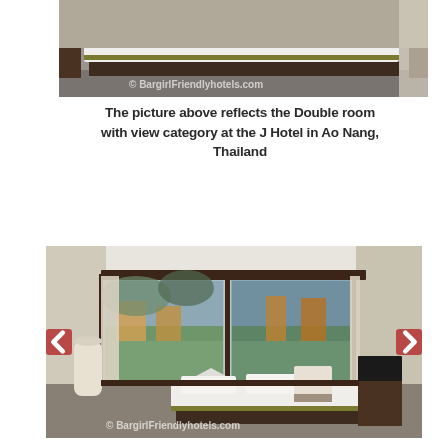[Figure (photo): Hotel room photo showing a double bed with white linens and olive/gold accents, dark wood furniture, grey flooring. Watermark: © BargirlFriendlyhotels.com]
The picture above reflects the Double room with view category at the J Hotel in Ao Nang, Thailand
[Figure (photo): Hotel room photo showing a bright room with large windows overlooking a cityscape and mountains, a white bed, a chair, TV stand, and curtains. Watermark: © BargirlFriendlyhotels.com. Navigation arrows on left and right sides.]